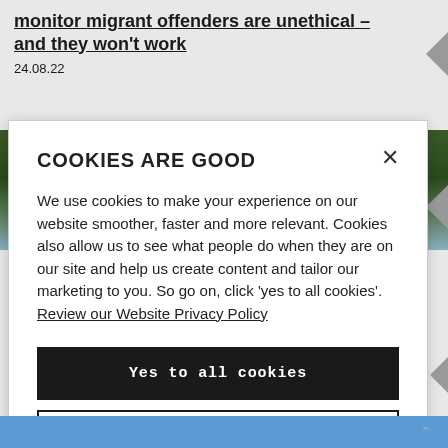monitor migrant offenders are unethical – and they won't work
24.08.22
[Figure (photo): Photograph of trees and foliage with sky visible, partially obscured by cookie consent modal]
COOKIES ARE GOOD
We use cookies to make your experience on our website smoother, faster and more relevant. Cookies also allow us to see what people do when they are on our site and help us create content and tailor our marketing to you. So go on, click 'yes to all cookies'. Review our Website Privacy Policy